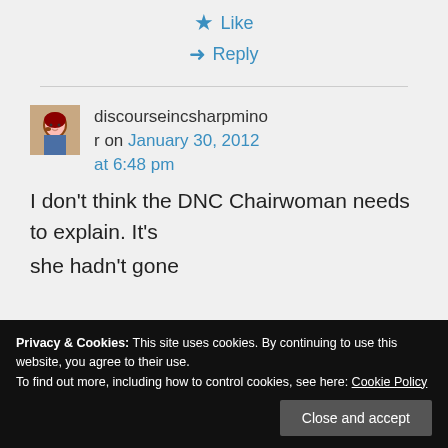Like
Reply
discourseincsharpmino r on January 30, 2012 at 6:48 pm
I don't think the DNC Chairwoman needs to explain. It's
she hadn't gone
Privacy & Cookies: This site uses cookies. By continuing to use this website, you agree to their use. To find out more, including how to control cookies, see here: Cookie Policy
Close and accept